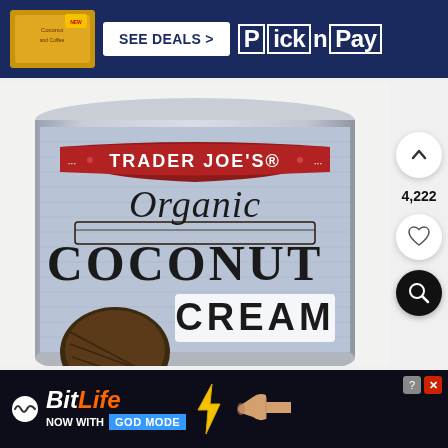[Figure (screenshot): Top advertisement banner for Pick n Pay retailer with 'SEE DEALS >' button and Pick n Pay logo on dark blue background with product thumbnail]
[Figure (photo): Trader Joe's Organic Coconut Cream can with light blue label, red ribbon banner with brand name, decorative script text reading 'Organic Coconut Cream']
4,222
[Figure (screenshot): Bottom advertisement banner for BitLife game app with 'NOW WITH GOD MODE' text, lightning bolt graphic, and pointing hand illustration]